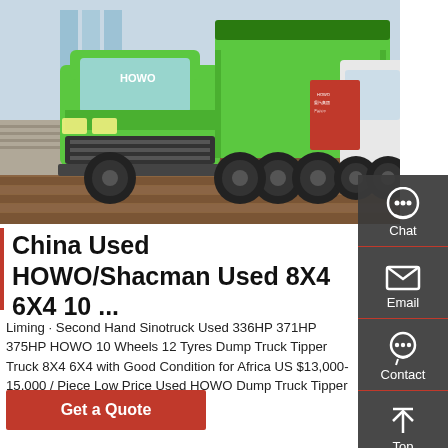[Figure (photo): Green HOWO dump truck (tipper truck) photographed at an outdoor venue, showing the front and side profile. The truck is bright green with large tires. A red display sign is visible beside it, and another white truck is partially visible on the right.]
China Used HOWO/Shacman Used 8X4 6X4 10 ...
Liming · Second Hand Sinotruck Used 336HP 371HP 375HP HOWO 10 Wheels 12 Tyres Dump Truck Tipper Truck 8X4 6X4 with Good Condition for Africa US $13,000-15,000 / Piece Low Price Used HOWO Dump Truck Tipper …
Get a Quote